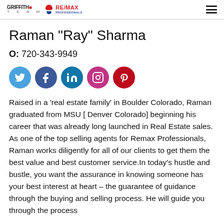Griffith Home Team | RE/MAX Professionals
Raman "Ray" Sharma
O: 720-343-9949
[Figure (other): Social media icons row: Twitter (blue), Facebook (dark blue), LinkedIn (teal), Instagram (pink), Pinterest (red)]
Raised in a 'real estate family' in Boulder Colorado, Raman graduated from MSU [ Denver Colorado] beginning his career that was already long launched in Real Estate sales. As one of the top selling agents for Remax Professionals, Raman works diligently for all of our clients to get them the best value and best customer service.In today's hustle and bustle, you want the assurance in knowing someone has your best interest at heart – the guarantee of guidance through the buying and selling process. He will guide you through the process